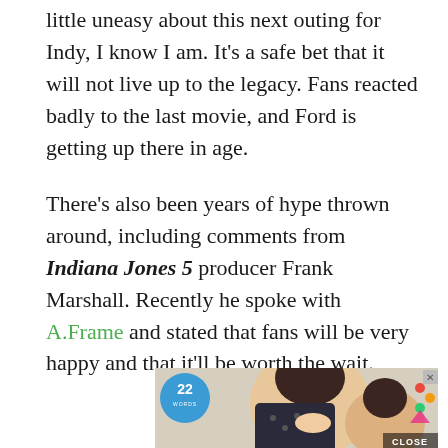little uneasy about this next outing for Indy, I know I am. It's a safe bet that it will not live up to the legacy. Fans reacted badly to the last movie, and Ford is getting up there in age.
There's also been years of hype thrown around, including comments from Indiana Jones 5 producer Frank Marshall. Recently he spoke with A.Frame and stated that fans will be very happy and that it'll be worth the wait.
[Figure (photo): Advertisement banner showing a woman and child cooking together, with a '22 Words' circular blue badge logo on the left and a 'CLOSE' button on the right.]